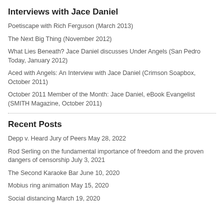Interviews with Jace Daniel
Poetiscape with Rich Ferguson (March 2013)
The Next Big Thing (November 2012)
What Lies Beneath? Jace Daniel discusses Under Angels (San Pedro Today, January 2012)
Aced with Angels: An Interview with Jace Daniel (Crimson Soapbox, October 2011)
October 2011 Member of the Month: Jace Daniel, eBook Evangelist (SMITH Magazine, October 2011)
Recent Posts
Depp v. Heard Jury of Peers May 28, 2022
Rod Serling on the fundamental importance of freedom and the proven dangers of censorship July 3, 2021
The Second Karaoke Bar June 10, 2020
Mobius ring animation May 15, 2020
Social distancing March 19, 2020